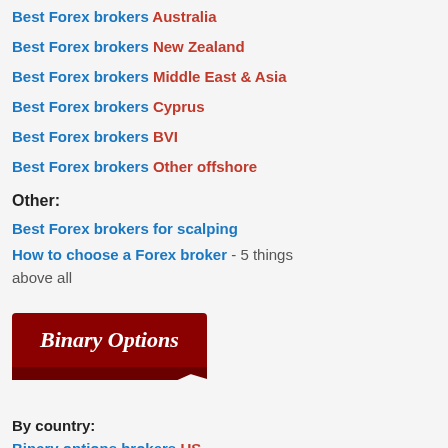Best Forex brokers Australia
Best Forex brokers New Zealand
Best Forex brokers Middle East & Asia
Best Forex brokers Cyprus
Best Forex brokers BVI
Best Forex brokers Other offshore
Other:
Best Forex brokers for scalping
How to choose a Forex broker - 5 things above all
[Figure (logo): Binary Options red banner logo]
By country:
Binary options brokers US
Binary options brokers UK
By funding options:
Binary options brokers Paypal
Binary options brokers Skrill
Binary options brokers WebMoney
[Figure (illustration): New Zealand flag or icon (partially visible, top-right)]
New Zeal...
How to choo...
What's most importa... Leverage? Spreads?... There are more impo...
1. Withdrawals, with...
Nothing is more impo... If a broker doesn't of... never being returned...
2. Recognition of y...